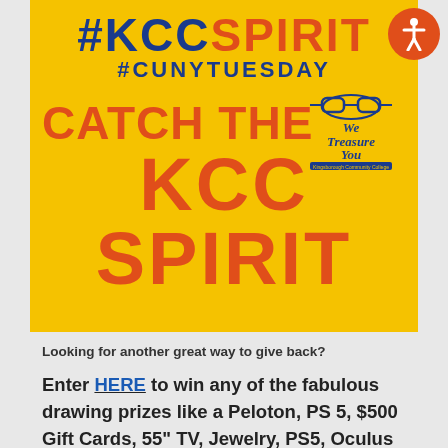[Figure (infographic): Yellow promotional banner for KCC Spirit / CUNY Tuesday fundraiser. Shows #KCCSPIRIT in blue and orange text, #CUNYTUESDAY in blue, and large orange text reading CATCH THE KCC SPIRIT with a We Treasure You Kingsborough Community College logo. An orange accessibility icon circle appears in the top right corner.]
Looking for another great way to give back?
Enter HERE to win any of the fabulous drawing prizes like a Peloton, PS 5, $500 Gift Cards, 55" TV, Jewelry, PS5, Oculus Quest 2, and more...